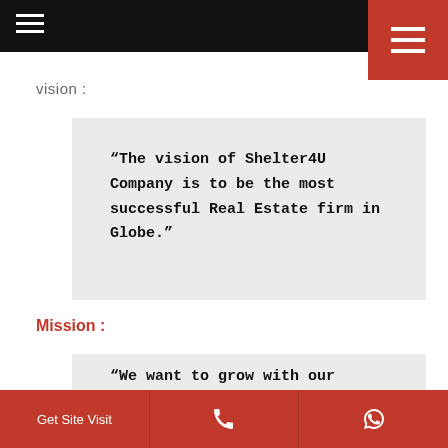≡ [navigation menu]
vision :
“The vision of Shelter4U Company is to be the most successful Real Estate firm in Globe.”
Mission :
“We want to grow with our
Get Site Visit | [phone icon] | [whatsapp icon]